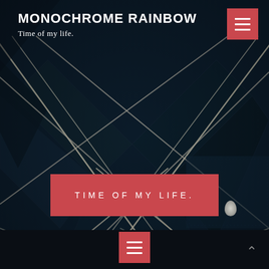MONOCHROME RAINBOW
Time of my life.
[Figure (illustration): Dark geometric background with diagonal metallic bars/rails forming a chevron/herringbone pattern on a dark navy background]
TIME OF MY LIFE.
≡ (hamburger menu icon) / Up arrow navigation